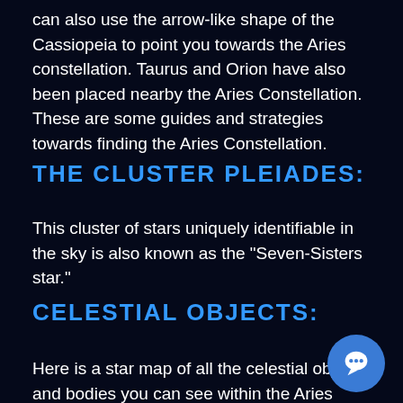can also use the arrow-like shape of the Cassiopeia to point you towards the Aries constellation. Taurus and Orion have also been placed nearby the Aries Constellation. These are some guides and strategies towards finding the Aries Constellation.
THE CLUSTER PLEIADES:
This cluster of stars uniquely identifiable in the sky is also known as the "Seven-Sisters star."
CELESTIAL OBJECTS:
Here is a star map of all the celestial objects and bodies you can see within the Aries Constellation. The map provides in-depth detail of all the celestial bodies